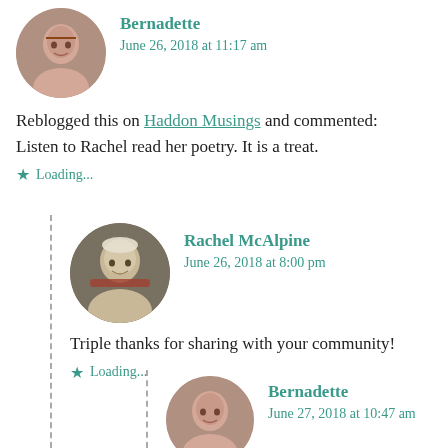Bernadette
June 26, 2018 at 11:17 am
Reblogged this on Haddon Musings and commented:
Listen to Rachel read her poetry. It is a treat.
Loading...
Rachel McAlpine
June 26, 2018 at 8:00 pm
Triple thanks for sharing with your community!
Loading...
Bernadette
June 27, 2018 at 10:47 am
Your very welcome. I so